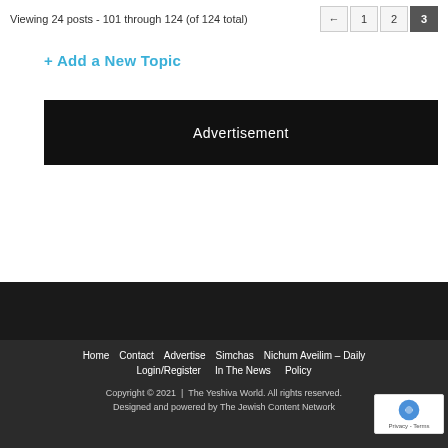Viewing 24 posts - 101 through 124 (of 124 total)
+ Add a New Topic
[Figure (other): Advertisement banner - black background with white text 'Advertisement']
Home  Contact  Advertise  Simchas  Nichum Aveilim – Daily  Login/Register  In The News  Policy  Copyright © 2021 | The Yeshiva World. All rights reserved. Designed and powered by The Jewish Content Network